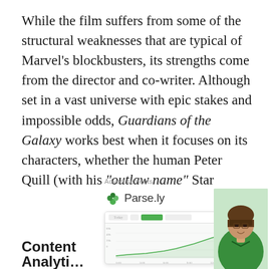While the film suffers from some of the structural weaknesses that are typical of Marvel's blockbusters, its strengths come from the director and co-writer. Although set in a vast universe with epic stakes and impossible odds, Guardians of the Galaxy works best when it focuses on its characters, whether the human Peter Quill (with his “outlaw name” Star Lord), the killing machine Drax, the sentient and sensitive tree Groot, the racoon named Rocket or the prodigal daughter named Gamora.
Advertisements
[Figure (screenshot): Parse.ly advertisement with logo, dashboard screenshot showing a green line chart, and a woman in a green sweater. Text reads 'Content Analytics'.]